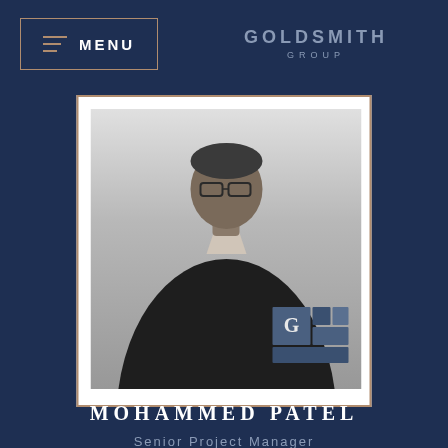MENU | GOLDSMITH GROUP
[Figure (photo): Black and white portrait photo of Mohammed Patel in dark sweater with Goldsmith Group logo overlay in bottom right corner]
MOHAMMED PATEL
Senior Project Manager